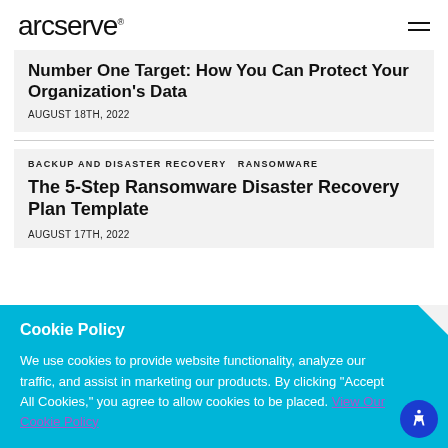arcserve
Number One Target: How You Can Protect Your Organization’s Data
AUGUST 18TH, 2022
BACKUP AND DISASTER RECOVERY RANSOMWARE
The 5-Step Ransomware Disaster Recovery Plan Template
AUGUST 17TH, 2022
Cookie Policy
We use cookies to provide website functionality, analyze our traffic, and assist in marketing our products. By clicking "Accept All Cookies," you agree to allow cookies to be placed. View Our Cookie Policy